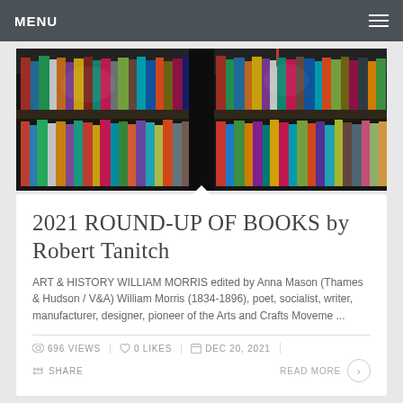MENU
[Figure (photo): Colorful books arranged on library shelves, viewed from front — two rows visible with many different colored spines]
2021 ROUND-UP OF BOOKS by Robert Tanitch
ART & HISTORY WILLIAM MORRIS edited by Anna Mason (Thames & Hudson / V&A) William Morris (1834-1896), poet, socialist, writer, manufacturer, designer, pioneer of the Arts and Crafts Moveme ...
696 VIEWS   0 LIKES   DEC 20, 2021
SHARE   READ MORE